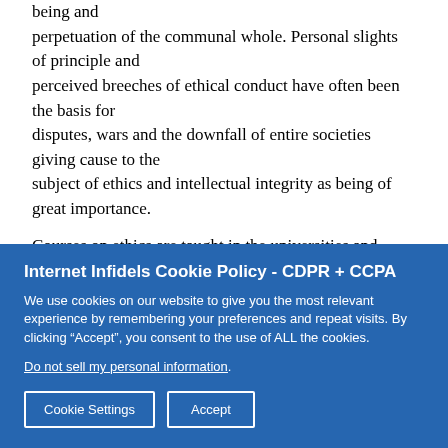being and perpetuation of the communal whole. Personal slights of principle and perceived breeches of ethical conduct have often been the basis for disputes, wars and the downfall of entire societies giving cause to the subject of ethics and intellectual integrity as being of great importance.
Courses on ethics are taught in the universities and enlightened groups promote ethics with the well-intentioned and effective effort to have some
Internet Infidels Cookie Policy - CDPR + CCPA
We use cookies on our website to give you the most relevant experience by remembering your preferences and repeat visits. By clicking “Accept”, you consent to the use of ALL the cookies.
Do not sell my personal information.